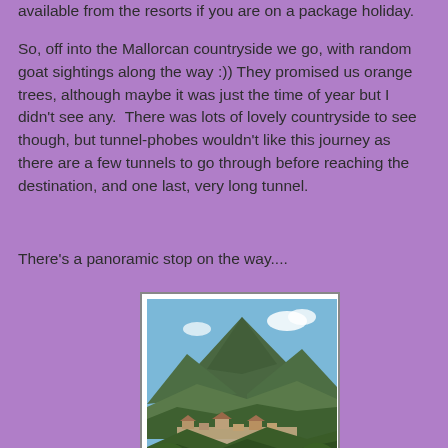available from the resorts if you are on a package holiday.
So, off into the Mallorcan countryside we go, with random goat sightings along the way :)) They promised us orange trees, although maybe it was just the time of year but I didn't see any.  There was lots of lovely countryside to see though, but tunnel-phobes wouldn't like this journey as there are a few tunnels to go through before reaching the destination, and one last, very long tunnel.
There's a panoramic stop on the way....
[Figure (photo): Panoramic view of a Mallorcan town nestled in a valley with a large wooded mountain backdrop and blue sky with clouds]